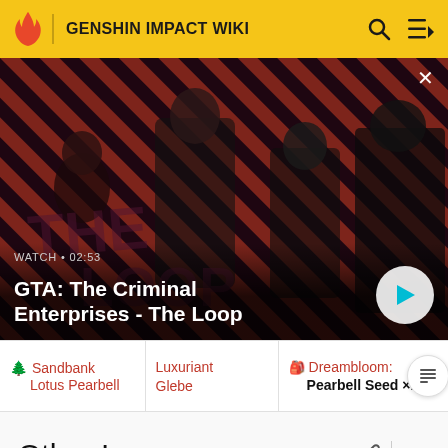GENSHIN IMPACT WIKI
[Figure (screenshot): Video thumbnail for GTA: The Criminal Enterprises - The Loop showing four characters on a red striped background with play button and WATCH • 02:53 label]
WATCH • 02:53
GTA: The Criminal Enterprises - The Loop
Sandbank Lotus Pearbell
Luxuriant Glebe
Dreambloom: Pearbell Seed ×1
Other Languages